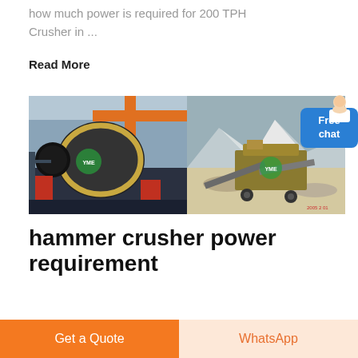how much power is required for 200 TPH Crusher in ...
Read More
[Figure (photo): Two photos side by side: left shows a large ball mill inside an industrial factory with orange crane overhead; right shows an outdoor mobile crushing plant in a mountainous/snowy landscape. Both images have a green YME watermark logo.]
hammer crusher power requirement
Get a Quote
WhatsApp